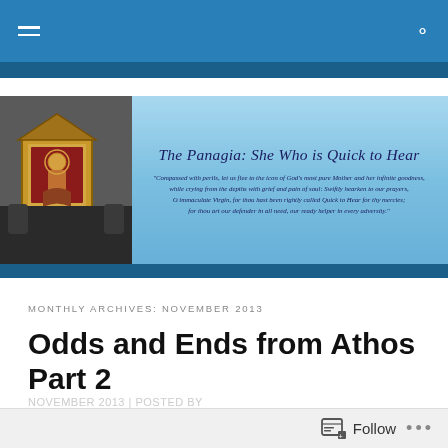Navigation bar with hamburger menu and search icon
[Figure (illustration): Blog banner with photo of person holding an icon in a wooden house-shaped frame on the left, and a blue background with decorative text on the right. Title: 'The Panagia: She Who is Quick to Hear'. Quote: 'Compassed with perils, let us flee to the icon of God's most pure Mother and her infinite goodness, while crying from the depths with grief and pain of soul: Swiftly hearken to our prayers, O immaculate Virgin, for thou hast been rightly called Quick to Hear for thy mercies; for thou art our defender in all need, our ready helper in every adversity.']
MONTHLY ARCHIVES: NOVEMBER 2013
Odds and Ends from Athos Part 2
Follow ...